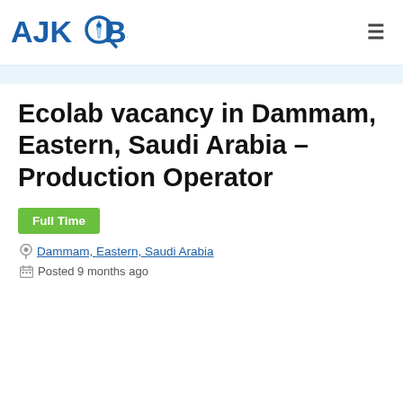[Figure (logo): AJKJOBS logo with magnifying glass icon, blue text]
Ecolab vacancy in Dammam, Eastern, Saudi Arabia – Production Operator
Full Time
Dammam, Eastern, Saudi Arabia
Posted 9 months ago